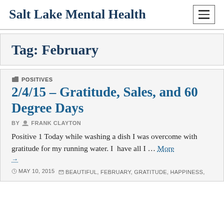Salt Lake Mental Health
Tag: February
POSITIVES
2/4/15 – Gratitude, Sales, and 60 Degree Days
BY FRANK CLAYTON
Positive 1 Today while washing a dish I was overcome with gratitude for my running water. I  have all I … More →
MAY 10, 2015  BEAUTIFUL, FEBRUARY, GRATITUDE, HAPPINESS,